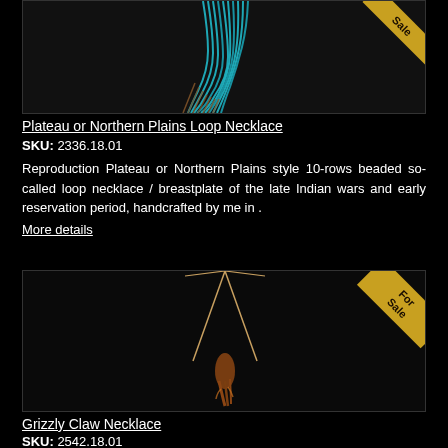[Figure (photo): Plateau or Northern Plains Loop Necklace product photo on black background with 'Sale' badge in corner]
Plateau or Northern Plains Loop Necklace
SKU: 2336.18.01
Reproduction Plateau or Northern Plains style 10-rows beaded so-called loop necklace / breastplate of the late Indian wars and early reservation period, handcrafted by me in .
More details
[Figure (photo): Grizzly Claw Necklace product photo on black background with 'For Sale' badge in corner]
Grizzly Claw Necklace
SKU: 2542.18.01
Long necklace with a medicine bag of brain-tanned hide and old beads with a grizzly claw (realistic replica) pendant. For sale or trade.
More details